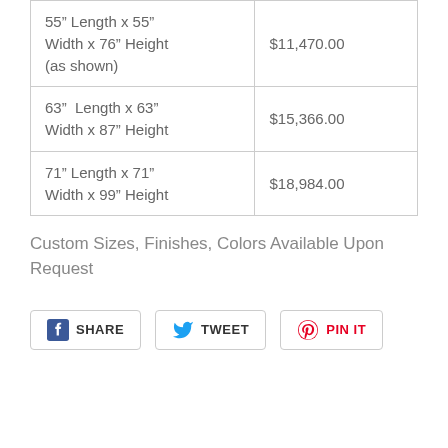| Dimensions | Price |
| --- | --- |
| 55” Length x 55” Width x 76” Height (as shown) | $11,470.00 |
| 63”  Length x 63” Width x 87” Height | $15,366.00 |
| 71” Length x 71” Width x 99” Height | $18,984.00 |
Custom Sizes, Finishes, Colors Available Upon Request
SHARE  TWEET  PIN IT